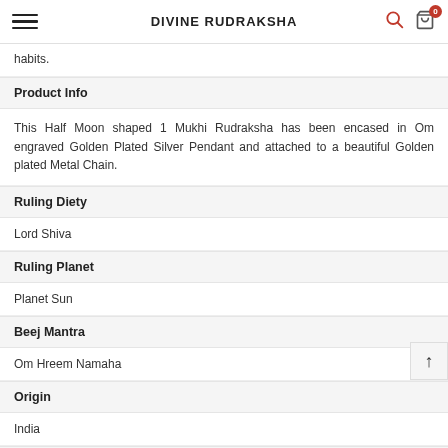DIVINE RUDRAKSHA
habits.
Product Info
This Half Moon shaped 1 Mukhi Rudraksha has been encased in Om engraved Golden Plated Silver Pendant and attached to a beautiful Golden plated Metal Chain.
Ruling Diety
Lord Shiva
Ruling Planet
Planet Sun
Beej Mantra
Om Hreem Namaha
Origin
India
Positive Effects